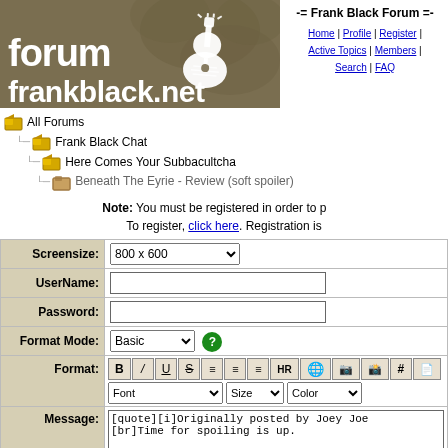[Figure (logo): Forum frankblack.net logo with guitar silhouette on olive/brown background]
-= Frank Black Forum =-
Home | Profile | Register | Active Topics | Members | Search | FAQ
All Forums
  Frank Black Chat
    Here Comes Your Subbacultcha
      Beneath The Eyrie - Review (soft spoiler)
Note: You must be registered in order to post. To register, click here. Registration is
| Screensize: | 800 x 600 (dropdown) |
| UserName: | (text input) |
| Password: | (text input) |
| Format Mode: | Basic (dropdown) (help icon) |
| Format: | B / U S (align icons) HR (globe icons) # (page icons) | Font dropdown | Size dropdown | Color dropdown |
| Message: | [quote][i]Originally posted by Joey Joe
[br]Time for spoiling is up. |
| * HTML is OFF
* Forum Code is ON |  |